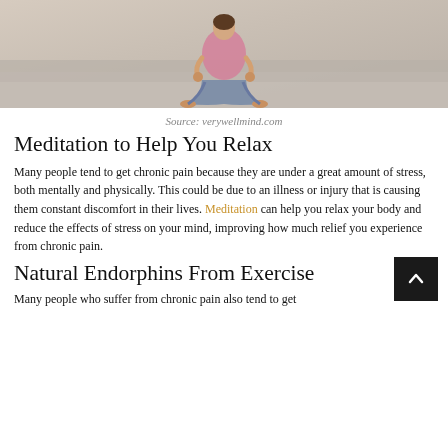[Figure (photo): Woman in pink top sitting in lotus meditation pose on stone steps outdoors]
Source: verywellmind.com
Meditation to Help You Relax
Many people tend to get chronic pain because they are under a great amount of stress, both mentally and physically. This could be due to an illness or injury that is causing them constant discomfort in their lives. Meditation can help you relax your body and reduce the effects of stress on your mind, improving how much relief you experience from chronic pain.
Natural Endorphins From Exercise
Many people who suffer from chronic pain also tend to get